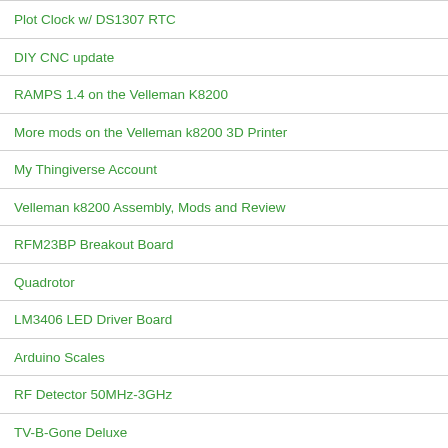Plot Clock w/ DS1307 RTC
DIY CNC update
RAMPS 1.4 on the Velleman K8200
More mods on the Velleman k8200 3D Printer
My Thingiverse Account
Velleman k8200 Assembly, Mods and Review
RFM23BP Breakout Board
Quadrotor
LM3406 LED Driver Board
Arduino Scales
RF Detector 50MHz-3GHz
TV-B-Gone Deluxe